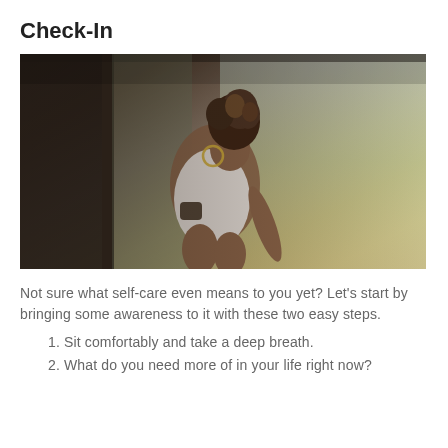Check-In
[Figure (photo): A young woman with curly hair in an updo, wearing a white tank top, sitting in what appears to be a vehicle doorway, looking thoughtfully to the side. The background shows a blurred outdoor scene.]
Not sure what self-care even means to you yet? Let's start by bringing some awareness to it with these two easy steps.
1. Sit comfortably and take a deep breath.
2. What do you need more of in your life right now?